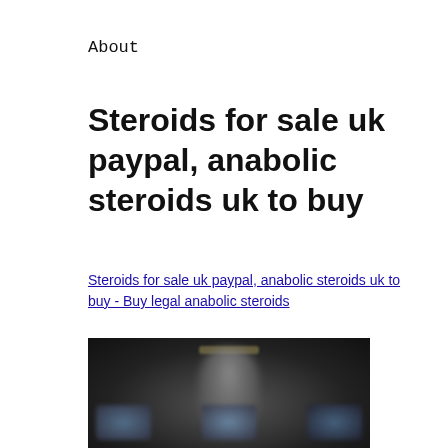About
Steroids for sale uk paypal, anabolic steroids uk to buy
Steroids for sale uk paypal, anabolic steroids uk to buy - Buy legal anabolic steroids
[Figure (photo): Dark blurry image showing a person figure in the background and three blurred product containers (pills/supplements) in the foreground at the bottom]